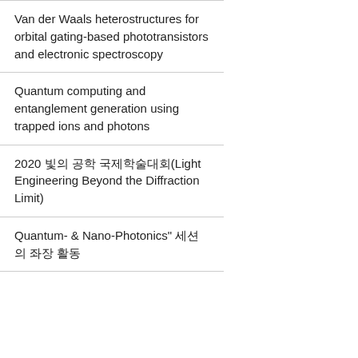Van der Waals heterostructures for orbital gating-based phototransistors and electronic spectroscopy
Quantum computing and entanglement generation using trapped ions and photons
2020 빛의 공학 국제학술대회(Light Engineering Beyond the Diffraction Limit)
Quantum- & Nano-Photonics" 세션의 좌장 활동